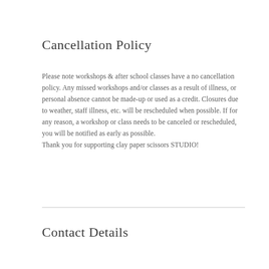Cancellation Policy
Please note workshops & after school classes have a no cancellation policy. Any missed workshops and/or classes as a result of illness, or personal absence cannot be made-up or used as a credit. Closures due to weather, staff illness, etc. will be rescheduled when possible. If for any reason, a workshop or class needs to be canceled or rescheduled, you will be notified as early as possible.
Thank you for supporting clay paper scissors STUDIO!
Contact Details